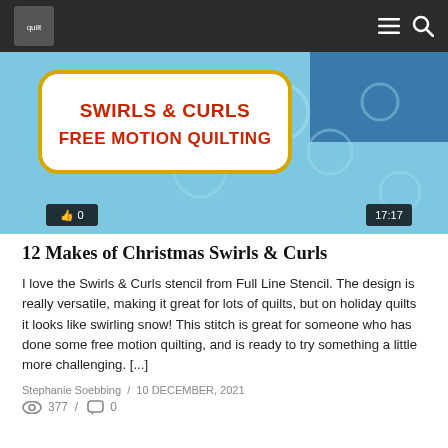Quilt navigation bar with logo, menu and search icons
[Figure (screenshot): Video thumbnail for Swirls & Curls Free Motion Quilting showing blue quilted fabric with swirl pattern, title text in red and gold, like count 0, duration 17:17]
12 Makes of Christmas Swirls & Curls
I love the Swirls & Curls stencil from Full Line Stencil. The design is really versatile, making it great for lots of quilts, but on holiday quilts it looks like swirling snow! This stitch is great for someone who has done some free motion quilting, and is ready to try something a little more challenging. [...]
Stephanie Soebbing / 10 DECEMBER, 2021
377 / 0